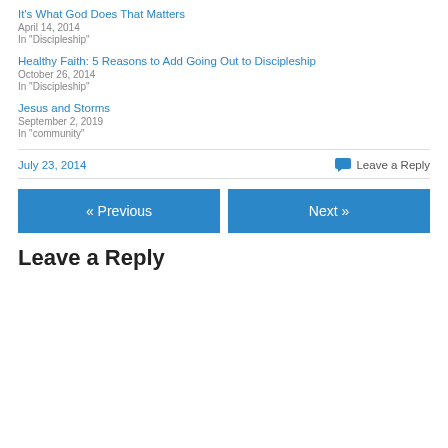It's What God Does That Matters
April 14, 2014
In "Discipleship"
Healthy Faith: 5 Reasons to Add Going Out to Discipleship
October 26, 2014
In "Discipleship"
Jesus and Storms
September 2, 2019
In "community"
July 23, 2014
Leave a Reply
« Previous
Next »
Leave a Reply